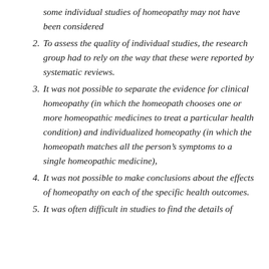some individual studies of homeopathy may not have been considered
2. To assess the quality of individual studies, the research group had to rely on the way that these were reported by systematic reviews.
3. It was not possible to separate the evidence for clinical homeopathy (in which the homeopath chooses one or more homeopathic medicines to treat a particular health condition) and individualized homeopathy (in which the homeopath matches all the person’s symptoms to a single homeopathic medicine),
4. It was not possible to make conclusions about the effects of homeopathy on each of the specific health outcomes.
5. It was often difficult in studies to find the details of